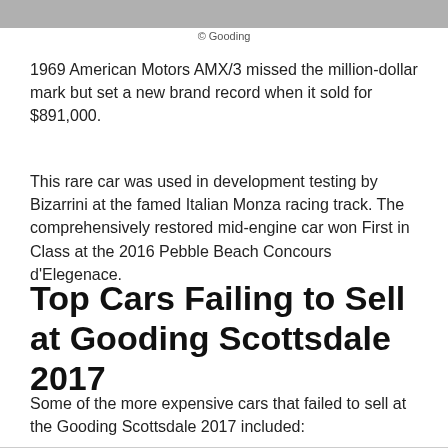[Figure (photo): Partial view of a car photograph at the top of the page, grayscale/muted tones.]
© Gooding
1969 American Motors AMX/3 missed the million-dollar mark but set a new brand record when it sold for $891,000.
This rare car was used in development testing by Bizarrini at the famed Italian Monza racing track. The comprehensively restored mid-engine car won First in Class at the 2016 Pebble Beach Concours d'Elegenace.
Top Cars Failing to Sell at Gooding Scottsdale 2017
Some of the more expensive cars that failed to sell at the Gooding Scottsdale 2017 included: